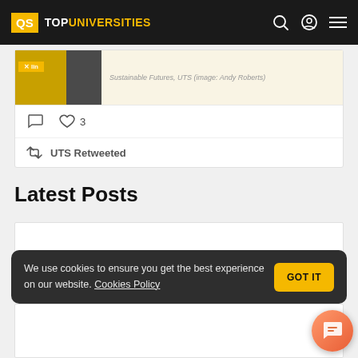QS TOP UNIVERSITIES
[Figure (screenshot): Tweet card showing image with caption 'Sustainable Futures, UTS (image: Andy Roberts)' with comment and heart icons (3 likes)]
UTS Retweeted
Latest Posts
[Figure (screenshot): Cookie consent banner: 'We use cookies to ensure you get the best experience on our website. Cookies Policy' with GOT IT button]
[Figure (screenshot): Chat button (orange circular button) in bottom right corner]